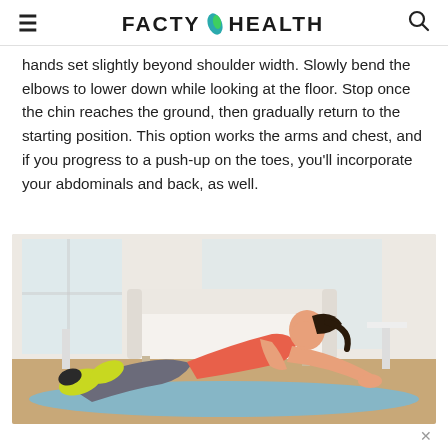FACTY HEALTH
hands set slightly beyond shoulder width. Slowly bend the elbows to lower down while looking at the floor. Stop once the chin reaches the ground, then gradually return to the starting position. This option works the arms and chest, and if you progress to a push-up on the toes, you'll incorporate your abdominals and back, as well.
[Figure (photo): A woman in a pink tank top and grey leggings doing a knee push-up on a blue yoga mat in a living room with a white sofa in the background.]
×